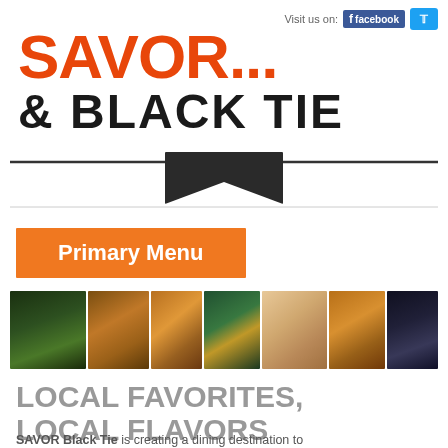Visit us on: facebook (twitter)
SAVOR... & BLACK TIE
Primary Menu
[Figure (photo): Strip of food photos showing various dishes including salads, tacos, a child eating a hotdog, pizza, and garnished dishes]
LOCAL FAVORITES, LOCAL FLAVORS
SAVOR Black Tie is creating a dining destination to